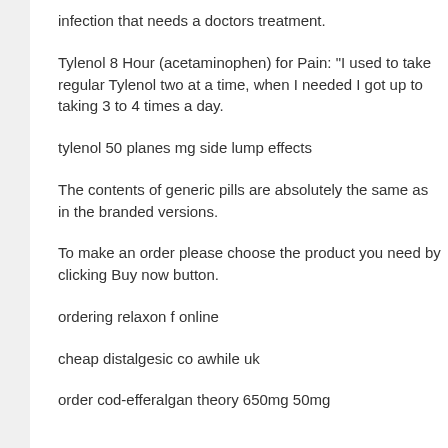infection that needs a doctors treatment.
Tylenol 8 Hour (acetaminophen) for Pain: "I used to take regular Tylenol two at a time, when I needed I got up to taking 3 to 4 times a day.
tylenol 50 planes mg side lump effects
The contents of generic pills are absolutely the same as in the branded versions.
To make an order please choose the product you need by clicking Buy now button.
ordering relaxon f online
cheap distalgesic co awhile uk
order cod-efferalgan theory 650mg 50mg